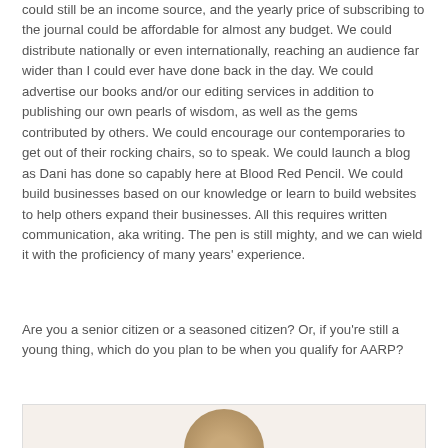could still be an income source, and the yearly price of subscribing to the journal could be affordable for almost any budget. We could distribute nationally or even internationally, reaching an audience far wider than I could ever have done back in the day. We could advertise our books and/or our editing services in addition to publishing our own pearls of wisdom, as well as the gems contributed by others. We could encourage our contemporaries to get out of their rocking chairs, so to speak. We could launch a blog as Dani has done so capably here at Blood Red Pencil. We could build businesses based on our knowledge or learn to build websites to help others expand their businesses. All this requires written communication, aka writing. The pen is still mighty, and we can wield it with the proficiency of many years' experience.
Are you a senior citizen or a seasoned citizen? Or, if you're still a young thing, which do you plan to be when you qualify for AARP?
[Figure (photo): Partial photo of a person with blonde/light brown hair visible at the bottom of the page]